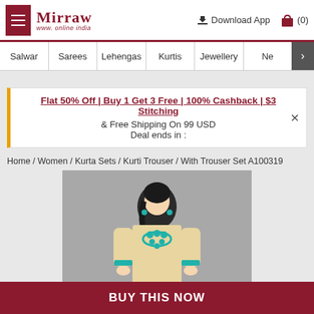Mirraw - www. online india
Salwar | Sarees | Lehengas | Kurtis | Jewellery | Ne >
Flat 50% Off | Buy 1 Get 3 Free | 100% Cashback | $3 Stitching & Free Shipping On 99 USD Deal ends in :
Home / Women / Kurta Sets / Kurti Trouser / With Trouser Set A100319
[Figure (photo): Woman wearing a beige kurti with teal embroidery]
BUY THIS NOW